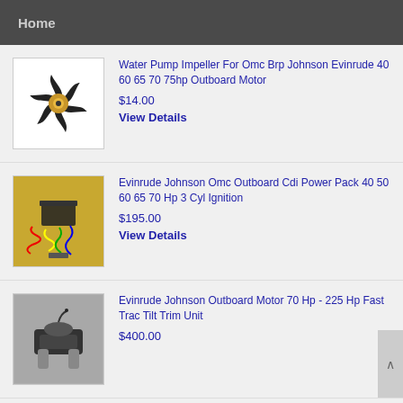Home
[Figure (photo): Water pump impeller, black star-shaped rubber part with gold/brass center hub, white background]
Water Pump Impeller For Omc Brp Johnson Evinrude 40 60 65 70 75hp Outboard Motor
$14.00
View Details
[Figure (photo): Evinrude Johnson OMC CDI power pack with wiring harness on yellow/gold background]
Evinrude Johnson Omc Outboard Cdi Power Pack 40 50 60 65 70 Hp 3 Cyl Ignition
$195.00
View Details
[Figure (photo): Evinrude Johnson outboard motor tilt trim unit, black motor unit with silver cylinders]
Evinrude Johnson Outboard Motor 70 Hp - 225 Hp Fast Trac Tilt Trim Unit
$400.00